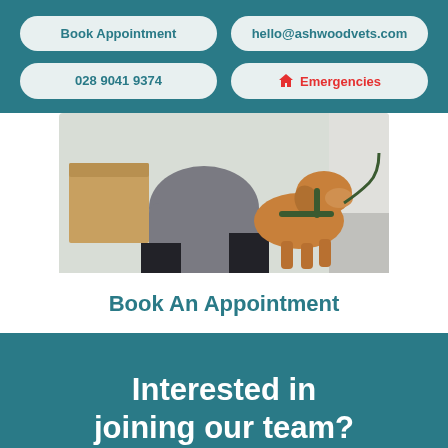Book Appointment | hello@ashwoodvets.com | 028 9041 9374 | Emergencies
[Figure (photo): Person kneeling next to a tan/brown dog on a leash in a veterinary clinic hallway]
Book An Appointment
Interested in joining our team?